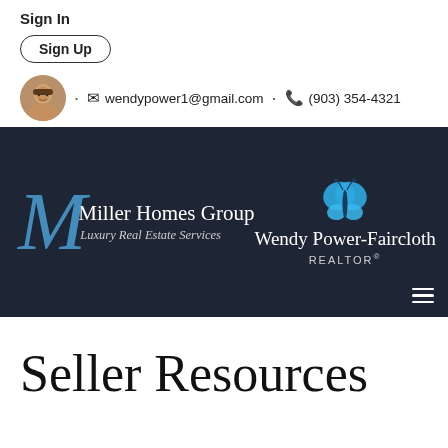Sign In
Sign Up
wendypower1@gmail.com · (903) 354-4321
[Figure (logo): Miller Homes Group Luxury Real Estate Services logo with large blue italic M and Wendy Power-Faircloth REALTOR branding with butterfly icon on dark navy background]
Seller Resources